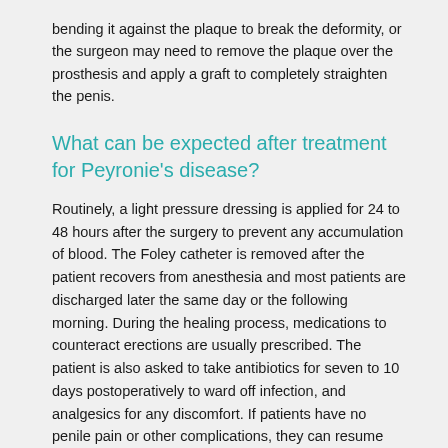bending it against the plaque to break the deformity, or the surgeon may need to remove the plaque over the prosthesis and apply a graft to completely straighten the penis.
What can be expected after treatment for Peyronie's disease?
Routinely, a light pressure dressing is applied for 24 to 48 hours after the surgery to prevent any accumulation of blood. The Foley catheter is removed after the patient recovers from anesthesia and most patients are discharged later the same day or the following morning. During the healing process, medications to counteract erections are usually prescribed. The patient is also asked to take antibiotics for seven to 10 days postoperatively to ward off infection, and analgesics for any discomfort. If patients have no penile pain or other complications, they can resume sexual intercourse in six to eight weeks.